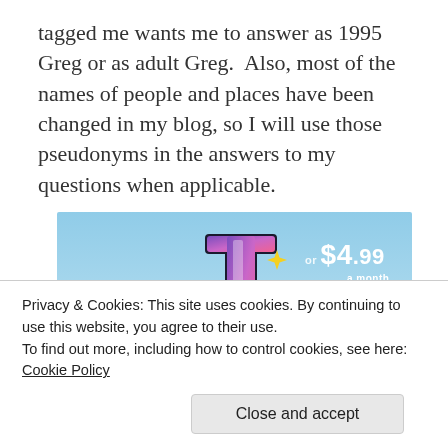tagged me wants me to answer as 1995 Greg or as adult Greg.  Also, most of the names of people and places have been changed in my blog, so I will use those pseudonyms in the answers to my questions when applicable.
[Figure (screenshot): Tumblr advertisement banner showing the Tumblr 't' logo in purple and pink with sparkle/star graphics on a blue sky background, with text 'or $4.99 a month + FREE SHIPPING']
Privacy & Cookies: This site uses cookies. By continuing to use this website, you agree to their use.
To find out more, including how to control cookies, see here: Cookie Policy
Close and accept